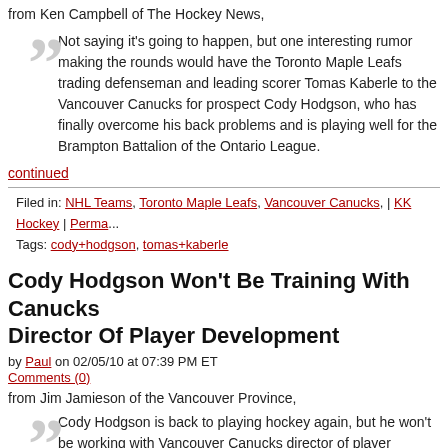from Ken Campbell of The Hockey News,
Not saying it's going to happen, but one interesting rumor making the rounds would have the Toronto Maple Leafs trading defenseman and leading scorer Tomas Kaberle to the Vancouver Canucks for prospect Cody Hodgson, who has finally overcome his back problems and is playing well for the Brampton Battalion of the Ontario League.
continued
Filed in: NHL Teams, Toronto Maple Leafs, Vancouver Canucks, | KK Hockey | Perma... Tags: cody+hodgson, tomas+kaberle
Cody Hodgson Won't Be Training With Canucks Director Of Player Development
by Paul on 02/05/10 at 07:39 PM ET
Comments (0)
from Jim Jamieson of the Vancouver Province,
Cody Hodgson is back to playing hockey again, but he won't be working with Vancouver Canucks director of player development Dave Gagner.
In a conference call, Hodgson — who assisted on two goals in his